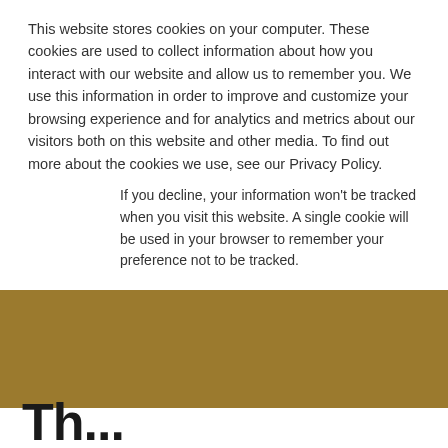This website stores cookies on your computer. These cookies are used to collect information about how you interact with our website and allow us to remember you. We use this information in order to improve and customize your browsing experience and for analytics and metrics about our visitors both on this website and other media. To find out more about the cookies we use, see our Privacy Policy.
If you decline, your information won't be tracked when you visit this website. A single cookie will be used in your browser to remember your preference not to be tracked.
[Figure (screenshot): Two buttons: a teal filled 'Accept' button and a teal outlined 'Decline' button]
[Figure (other): Golden/tan colored banner background section]
Th...